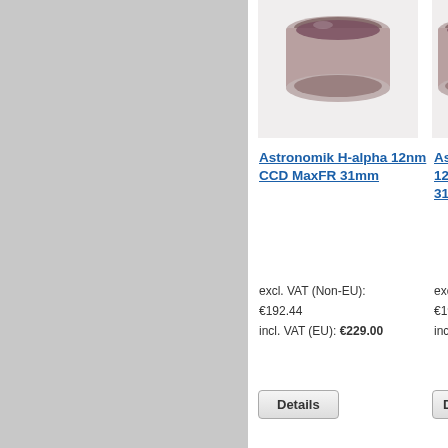[Figure (photo): Gray left panel background]
[Figure (photo): Circular camera filter product image, partially visible at top]
Astronomik H-alpha 12nm CCD MaxFR 31mm
excl. VAT (Non-EU): €192.44
incl. VAT (EU): €229.00
Details
Astro... 12nm ... 31mm (partially visible, second product)
excl. VA... €192.44 incl. VA... (partially visible)
Details (partially visible)
6 Item(s)
View as: List  Grid
[Figure (photo): Footer strip with astronomy images: Saturn, nebula, colorful nebula, galaxy, spiral galaxy, moon craters, star cluster, horsehead nebula region]